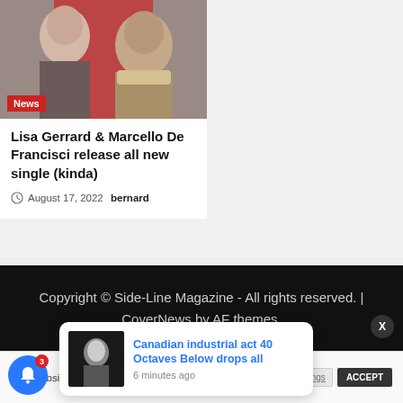[Figure (photo): Photo of two people — a woman on the left and a bearded man on the right against a red background, with a red 'News' badge overlay at bottom left]
Lisa Gerrard & Marcello De Francisci release all new single (kinda)
August 17, 2022  bernard
Copyright © Side-Line Magazine - All rights reserved. | CoverNews by AF themes.
This website us… me you're…
Canadian industrial act 40 Octaves Below drops all
6 minutes ago